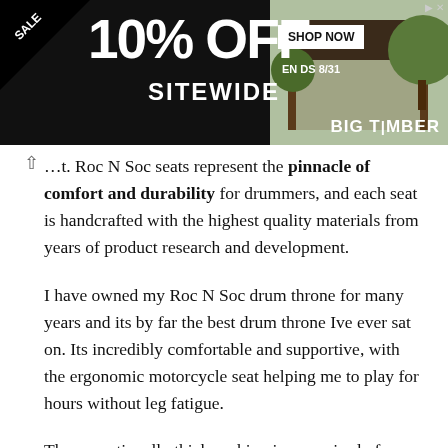[Figure (other): Advertisement banner: SALE 10% OFF SITEWIDE, SHOP NOW, ENDS 8/31, BIG TIMBER with gazebo image]
...t. Roc N Soc seats represent the pinnacle of comfort and durability for drummers, and each seat is handcrafted with the highest quality materials from years of product research and development.
I have owned my Roc N Soc drum throne for many years and its by far the best drum throne Ive ever sat on. Its incredibly comfortable and supportive, with the ergonomic motorcycle seat helping me to play for hours without leg fatigue.
The exceptionally thick cushion is comprised of multi-layer foam that supports weight perfectly and just feels great to sit on. The seat top is covered with a soft velour seating panel which is ultra-luxurious to the touch.